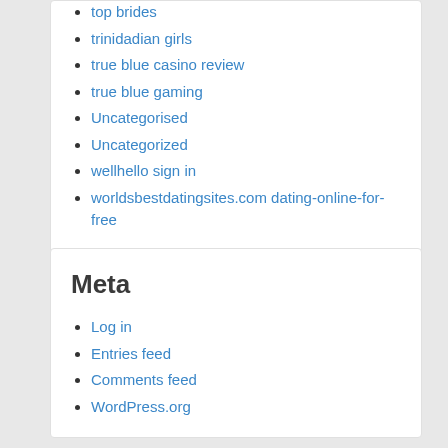top brides
trinidadian girls
true blue casino review
true blue gaming
Uncategorised
Uncategorized
wellhello sign in
worldsbestdatingsites.com dating-online-for-free
Meta
Log in
Entries feed
Comments feed
WordPress.org